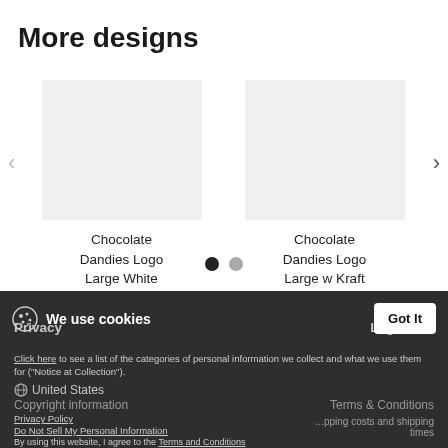More designs
Chocolate Dandies Logo Large White Outline
Chocolate Dandies Logo Large w Kraft
We use cookies
Privacy
Legal Info
Click here to see a list of the categories of personal information we collect and what we use them for ("Notice at Collection").
United States
Copyright information
Terms & Conditions
Privacy Policy
Do Not Sell My Personal Information
By using this website, I agree to the Terms and Conditions
...pping costs and shipping times